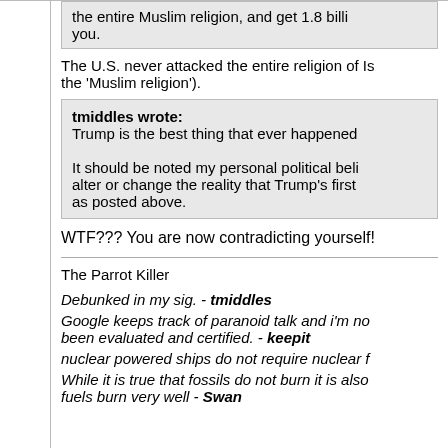the entire Muslim religion, and get 1.8 billion enemies who want to kill you.
The U.S. never attacked the entire religion of Islam (or as Trump calls it the 'Muslim religion').
tmiddles wrote: Trump is the best thing that ever happened...  It should be noted my personal political beliefs... alter or change the reality that Trump's first... as posted above.
WTF??? You are now contradicting yourself!
The Parrot Killer
Debunked in my sig. - tmiddles
Google keeps track of paranoid talk and i'm no... been evaluated and certified. - keepit
nuclear powered ships do not require nuclear f...
While it is true that fossils do not burn it is also fuels burn very well - Swan